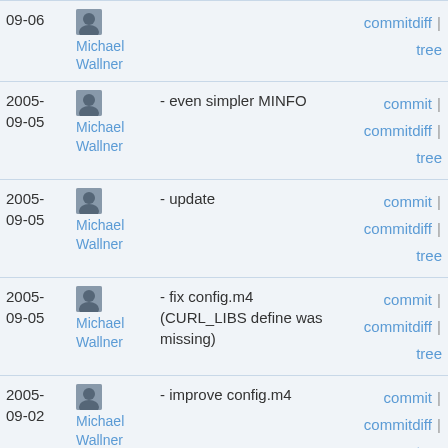| Date | Author | Message | Links |
| --- | --- | --- | --- |
| 2005-09-06 | Michael Wallner |  | commitdiff | tree |
| 2005-09-05 | Michael Wallner | - even simpler MINFO | commit | commitdiff | tree |
| 2005-09-05 | Michael Wallner | - update | commit | commitdiff | tree |
| 2005-09-05 | Michael Wallner | - fix config.m4 (CURL_LIBS define was missing) | commit | commitdiff | tree |
| 2005-09-02 | Michael Wallner | - improve config.m4 | commit | commitdiff | tree |
| 2005-09-02 | Michael Wallner | - move around | commit | commitdiff | tree |
| 2005-09-02 | Michael Wallner | - no HttpResponse for WONKY | commit | commitdiff | tree |